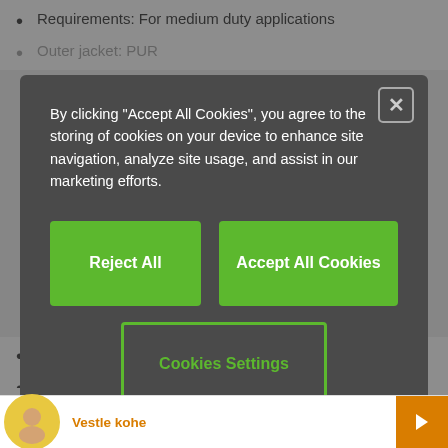Requirements: For medium duty applications
Outer jacket: PUR
[Figure (screenshot): Cookie consent modal dialog with dark background overlay showing text 'By clicking "Accept All Cookies", you agree to the storing of cookies on your device to enhance site navigation, analyze site usage, and assist in our marketing efforts.' with three buttons: 'Reject All', 'Accept All Cookies', and 'Cookies Settings']
Notch-resistant
PVC-free
chainflex® class: 4.2.3.1
[Figure (logo): Row of certification logos including CE, clean room, DESMA, DNV, EAC/GOST, and other certification marks, plus oil, RoHS symbols]
Vestle kohe